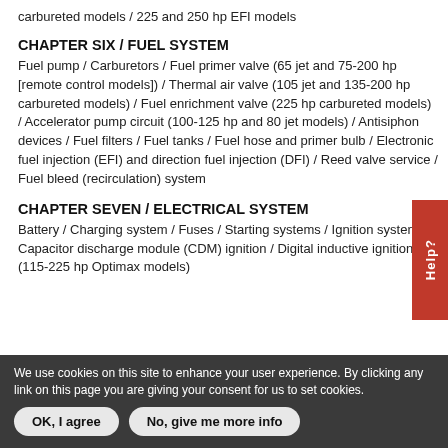carbureted models / 225 and 250 hp EFI models
CHAPTER SIX / FUEL SYSTEM
Fuel pump / Carburetors / Fuel primer valve (65 jet and 75-200 hp [remote control models]) / Thermal air valve (105 jet and 135-200 hp carbureted models) / Fuel enrichment valve (225 hp carbureted models) / Accelerator pump circuit (100-125 hp and 80 jet models) / Antisiphon devices / Fuel filters / Fuel tanks / Fuel hose and primer bulb / Electronic fuel injection (EFI) and direction fuel injection (DFI) / Reed valve service / Fuel bleed (recirculation) system
CHAPTER SEVEN / ELECTRICAL SYSTEM
Battery / Charging system / Fuses / Starting systems / Ignition systems / Capacitor discharge module (CDM) ignition / Digital inductive ignition (115-225 hp Optimax models)
We use cookies on this site to enhance your user experience. By clicking any link on this page you are giving your consent for us to set cookies.
OK, I agree | No, give me more info